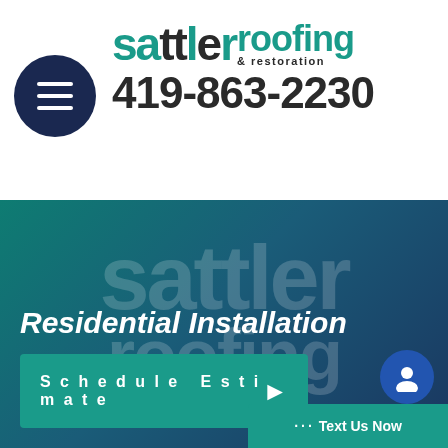[Figure (logo): Sattler Roofing & Restoration logo with teal and dark text]
419-863-2230
Residential Installation
Schedule Estimate
··· Text Us Now